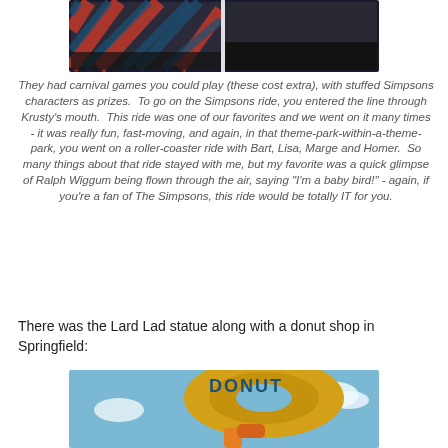[Figure (photo): Photo of carnival game booth with blue, red and yellow striped awning (cropped, top portion visible), split into two panels]
They had carnival games you could play (these cost extra), with stuffed Simpsons characters as prizes.  To go on the Simpsons ride, you entered the line through Krusty's mouth.  This ride was one of our favorites and we went on it many times - it was really fun, fast-moving, and again, in that theme-park-within-a-theme-park, you went on a roller-coaster ride with Bart, Lisa, Marge and Homer.  So many things about that ride stayed with me, but my favorite was a quick glimpse of Ralph Wiggum being flown through the air, saying "I'm a baby bird!" - again, if you're a fan of The Simpsons, this ride would be totally IT for you.
There was the Lard Lad statue along with a donut shop in Springfield:
[Figure (photo): Photo of Lard Lad donut statue - a large golden donut with blue DONUT text, held by a character, against blue sky with clouds]